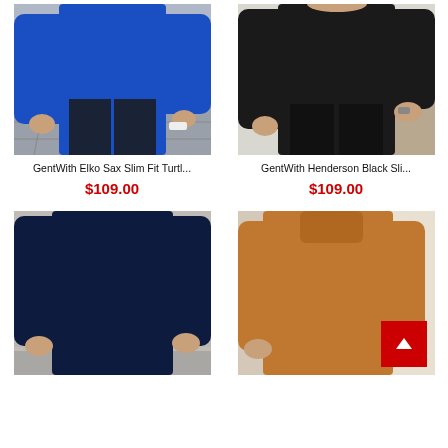[Figure (photo): Man wearing blue slim fit turtleneck sweater with dark trousers]
[Figure (photo): Man wearing black slim fit turtleneck sweater with black trousers]
GentWith Elko Sax Slim Fit Turtl...
GentWith Henderson Black Sli...
$109.00
$109.00
[Figure (photo): Navy blue slim fit turtleneck sweater on white stairs background]
[Figure (photo): Camel/tan slim fit turtleneck sweater, with red back-to-top button overlay]